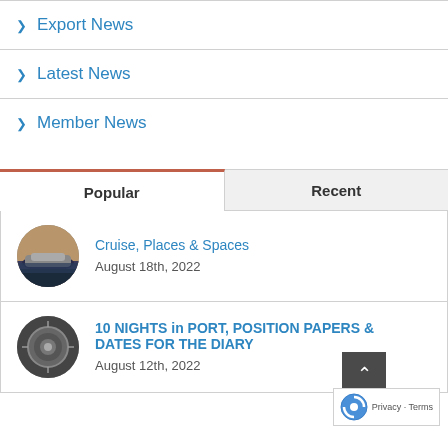> Export News
> Latest News
> Member News
Popular | Recent
Cruise, Places & Spaces
August 18th, 2022
10 NIGHTS in PORT, POSITION PAPERS & DATES FOR THE DIARY
August 12th, 2022